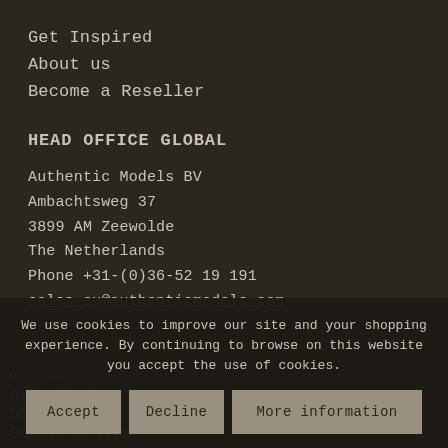Get Inspired
About us
Become a Reseller
HEAD OFFICE GLOBAL
Authentic Models BV
Ambachtsweg 37
3899 AM Zeewolde
The Netherlands
Phone +31-(0)36-52 19 191
sales.eu@authenticmodels.com
We use cookies to improve our site and your shopping experience. By continuing to browse on this website you accept the use of cookies.
Accept | Decline | More information
Authentic Models
50 Irving...
Eugene, OR 97404